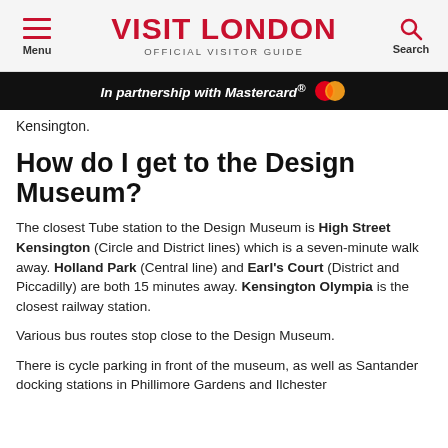VISIT LONDON — OFFICIAL VISITOR GUIDE
In partnership with Mastercard®
Kensington.
How do I get to the Design Museum?
The closest Tube station to the Design Museum is High Street Kensington (Circle and District lines) which is a seven-minute walk away. Holland Park (Central line) and Earl's Court (District and Piccadilly) are both 15 minutes away. Kensington Olympia is the closest railway station.
Various bus routes stop close to the Design Museum.
There is cycle parking in front of the museum, as well as Santander docking stations in Phillimore Gardens and Ilchester